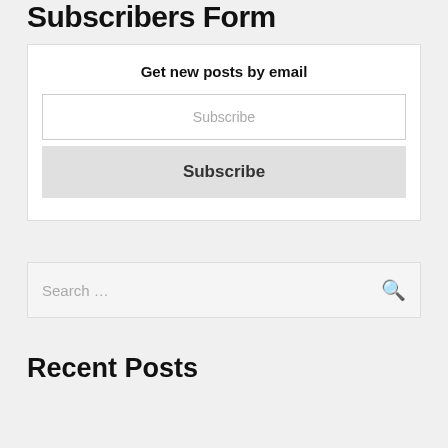Subscribers Form
Get new posts by email
Subscribe
Subscribe
Search …
Recent Posts
5 Tips to Hire a Digital Marketing Agency